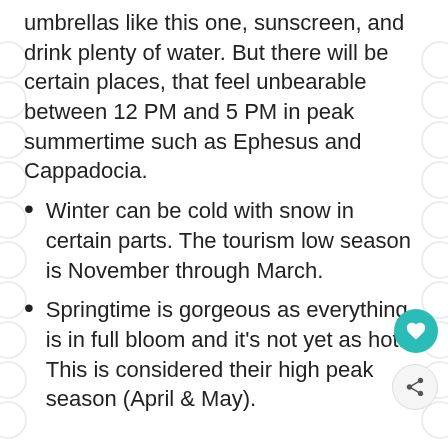umbrellas like this one, sunscreen, and drink plenty of water. But there will be certain places, that feel unbearable between 12 PM and 5 PM in peak summertime such as Ephesus and Cappadocia.
Winter can be cold with snow in certain parts. The tourism low season is November through March.
Springtime is gorgeous as everything is in full bloom and it's not yet as hot. This is considered their high peak season (April & May).